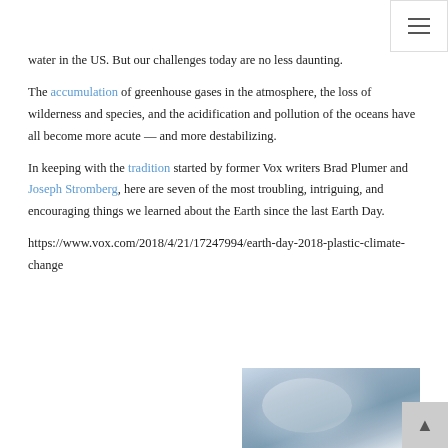water in the US. But our challenges today are no less daunting.
The accumulation of greenhouse gases in the atmosphere, the loss of wilderness and species, and the acidification and pollution of the oceans have all become more acute — and more destabilizing.
In keeping with the tradition started by former Vox writers Brad Plumer and Joseph Stromberg, here are seven of the most troubling, intriguing, and encouraging things we learned about the Earth since the last Earth Day.
https://www.vox.com/2018/4/21/17247994/earth-day-2018-plastic-climate-change
[Figure (photo): Aerial or satellite photo showing swirling clouds or storm system, partially visible at bottom right of page]